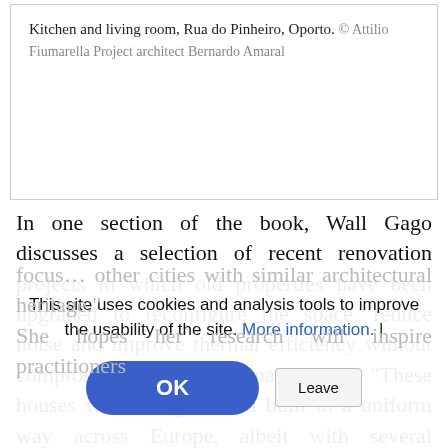Kitchen and living room, Rua do Pinheiro, Oporto. © Attilio Fiumarella Project architect Bernardo Amaral
In one section of the book, Wall Gago discusses a selection of recent renovation projects in which old properties have been upgraded to reconfigure the space, reduce noise and improve thermal efficiency without compromising their original charm. "These houses were designed and built in a uniform way across Europe, albeit with several variations" she explains. "As a result, my focus... other cities with similar architectural heritage." She hopes her research will inspire practitioners
This site uses cookies and analysis tools to improve the usability of the site. More information. |